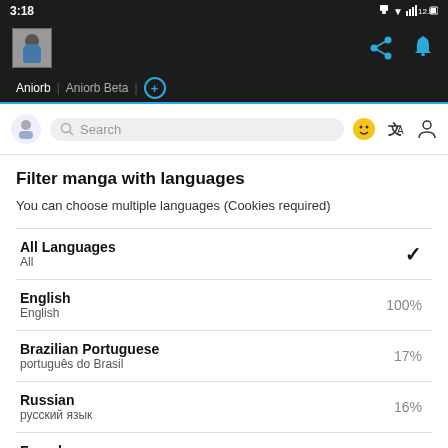[Figure (screenshot): Mobile app screenshot showing a manga website with language filter settings. Status bar at top shows 3:18 time. App header with avatar and share/notification icons. Tab bar with 'Aniorb' and 'Aniorb Beta' tabs. Search bar below. Main content shows 'Filter manga with languages' heading with a list of language options including All Languages (checked), English (100%), Brazilian Portuguese (17%), Russian (16%), French (11%), and Latin American Spanish (56,869).]